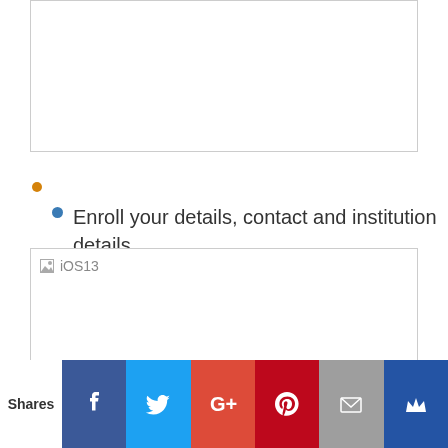[Figure (other): Empty white image box at top of page]
Enroll your details, contact and institution details
[Figure (screenshot): iOS13 image placeholder]
Shares | Facebook | Twitter | Google+ | Pinterest | Email | King